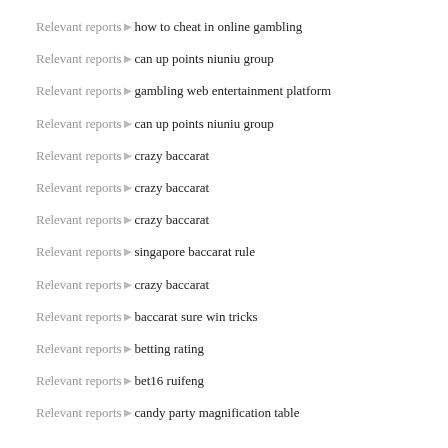Relevant reports►how to cheat in online gambling
Relevant reports►can up points niuniu group
Relevant reports►gambling web entertainment platform
Relevant reports►can up points niuniu group
Relevant reports►crazy baccarat
Relevant reports►crazy baccarat
Relevant reports►crazy baccarat
Relevant reports►singapore baccarat rule
Relevant reports►crazy baccarat
Relevant reports►baccarat sure win tricks
Relevant reports►betting rating
Relevant reports►bet16 ruifeng
Relevant reports►candy party magnification table